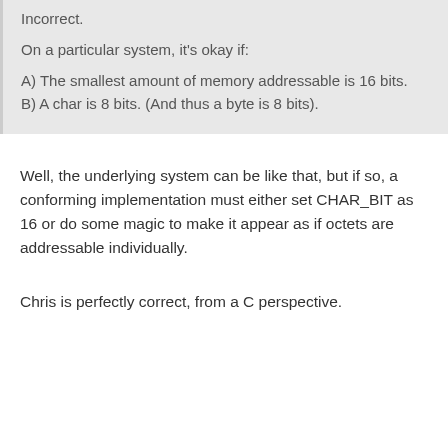Incorrect.
On a particular system, it's okay if:
A) The smallest amount of memory addressable is 16 bits.
B) A char is 8 bits. (And thus a byte is 8 bits).
Well, the underlying system can be like that, but if so, a conforming implementation must either set CHAR_BIT as 16 or do some magic to make it appear as if octets are addressable individually.
Chris is perfectly correct, from a C perspective.